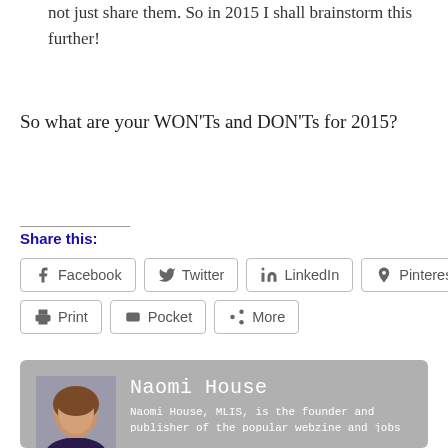not just share them. So in 2015 I shall brainstorm this further!
So what are your WON'Ts and DON'Ts for 2015?
Share this:
Facebook  Twitter  LinkedIn  Pinterest  Print  Pocket  More
[Figure (photo): Profile photo of Naomi House]
Naomi House
Naomi House, MLIS, is the founder and publisher of the popular webzine and jobs list INALJ.com (formerly I Need a Library Job) and former CMO (Chief Marketing Officer) of T160K.org, a crowdfunding platform focused on African patrimony, heritage and cultural projects. INALJ was founded in October 2010 with the